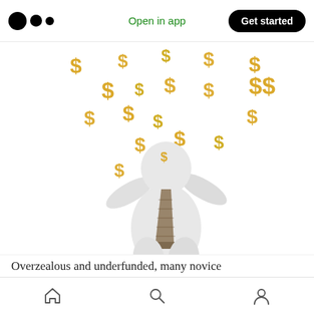Medium logo | Open in app | Get started
[Figure (illustration): A 3D white cartoon figure wearing a golden tie, arms raised upward, with golden dollar signs ($) raining down from above on a white background.]
Overzealous and underfunded, many novice
Home | Search | Profile navigation icons